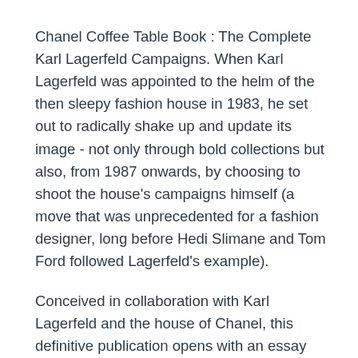Chanel Coffee Table Book : The Complete Karl Lagerfeld Campaigns. When Karl Lagerfeld was appointed to the helm of the then sleepy fashion house in 1983, he set out to radically shake up and update its image - not only through bold collections but also, from 1987 onwards, by choosing to shoot the house's campaigns himself (a move that was unprecedented for a fashion designer, long before Hedi Slimane and Tom Ford followed Lagerfeld's example).
Conceived in collaboration with Karl Lagerfeld and the house of Chanel, this definitive publication opens with an essay by Patrick Mauriès before exploring the campaigns themselves, organised chronologically. A carefully curated selection of images showcases hundreds of spectacular clothes worn by the top fashion models and personalities of each era, from Inès de La Fressange, Claudia Schiffer, Kate Moss and Cara